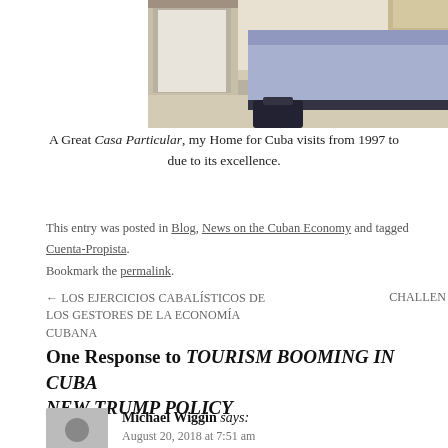[Figure (photo): Partial view of a bedroom interior — a bed with blue/purple bedding, tiled floor, doorway visible in background]
A Great Casa Particular, my Home for Cuba visits from 1997 to due to its excellence.
This entry was posted in Blog, News on the Cuban Economy and tagged Cuenta-Propista. Bookmark the permalink.
← LOS EJERCICIOS CABALÍSTICOS DE LOS GESTORES DE LA ECONOMÍA CUBANA   CHALLEN
One Response to TOURISM BOOMING IN CUBA NEW TRUMP POLICY
Michael Wiggin says: August 20, 2018 at 7:51 am